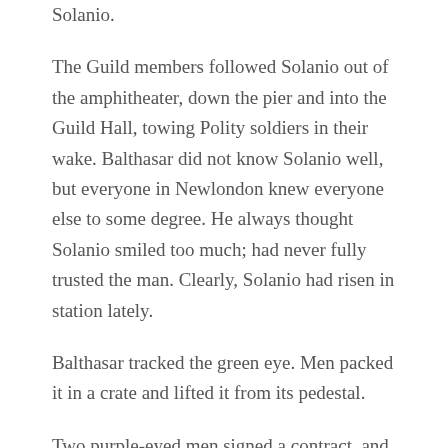Solanio.
The Guild members followed Solanio out of the amphitheater, down the pier and into the Guild Hall, towing Polity soldiers in their wake. Balthasar did not know Solanio well, but everyone in Newlondon knew everyone else to some degree. He always thought Solanio smiled too much; had never fully trusted the man. Clearly, Solanio had risen in station lately.
Balthasar tracked the green eye. Men packed it in a crate and lifted it from its pedestal.
Two purple-eyed men signed a contract, and handed over bag after bag of doubloons.
The crowd dispersed along the harbor wall, and from a window above them, Balthasar spotted the outline of a giant peering down at the dock. A bandit. His scarred face